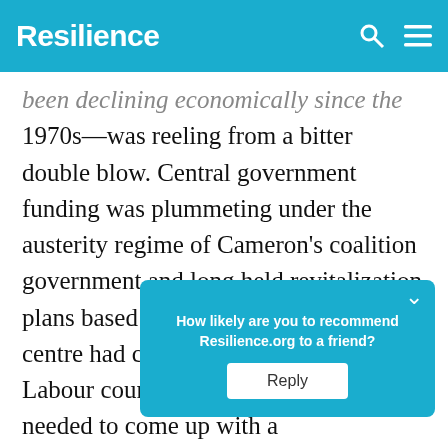Resilience
been declining economically since the 1970s—was reeling from a bitter double blow. Central government funding was plummeting under the austerity regime of Cameron's coalition government and long held revitalization plans based on a £700 million shopping centre had collapsed. The newly-elected Labour council realized that they needed to come up with a strategy... Matthew... Social
How likely are you to recommend Resilience.org to a friend? Reply